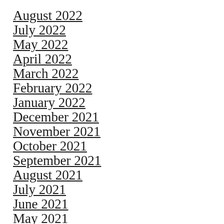August 2022
July 2022
May 2022
April 2022
March 2022
February 2022
January 2022
December 2021
November 2021
October 2021
September 2021
August 2021
July 2021
June 2021
May 2021